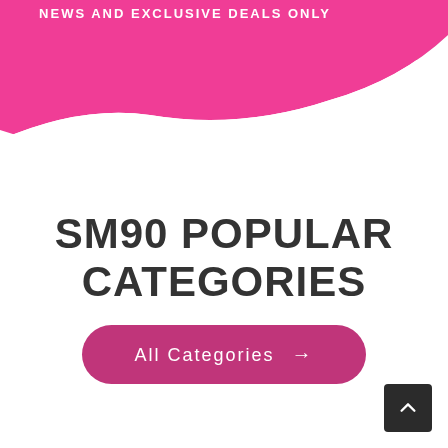NEWS AND EXCLUSIVE DEALS ONLY
SM90 POPULAR CATEGORIES
All Categories →